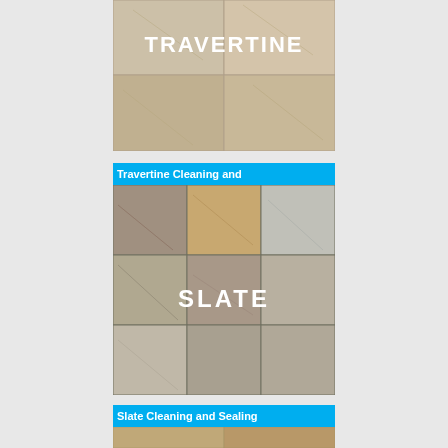[Figure (photo): Travertine stone floor tiles with text overlay reading TRAVERTINE in white bold letters]
Travertine Cleaning and
[Figure (photo): Slate stone floor tiles in various earthy tones with text overlay reading SLATE in white bold letters]
Slate Cleaning and Sealing
[Figure (photo): Partial view of stone tiles at bottom of page]